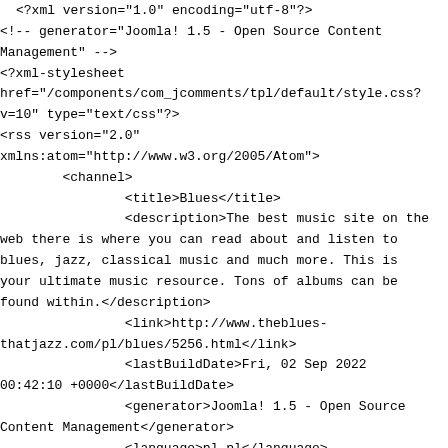<?xml version="1.0" encoding="utf-8"?>
<!-- generator="Joomla! 1.5 - Open Source Content Management" -->
<?xml-stylesheet href="/components/com_jcomments/tpl/default/style.css?v=10" type="text/css"?>
<rss version="2.0" xmlns:atom="http://www.w3.org/2005/Atom">
        <channel>
                <title>Blues</title>
                <description>The best music site on the web there is where you can read about and listen to blues, jazz, classical music and much more. This is your ultimate music resource. Tons of albums can be found within.</description>
                <link>http://www.theblues-thatjazz.com/pl/blues/5256.html</link>
                <lastBuildDate>Fri, 02 Sep 2022 00:42:10 +0000</lastBuildDate>
                <generator>Joomla! 1.5 - Open Source Content Management</generator>
                <language>pl-pl</language>
                <item>
                        <title>Shaun Murphy - Cry Of Love (2013)</title>
                        <link>http://www.theblues-thatjazz.com/pl/blues/5256-shaun-murphy/25076-shaun-murphy-cry-of-love-2013.html</link>
                        <guid>http://www.theblues-